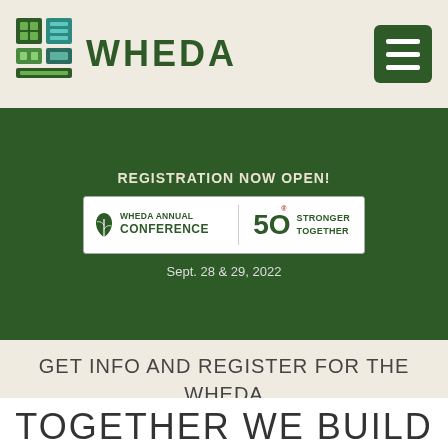WHEDA
[Figure (screenshot): WHEDA Annual Conference banner on dark green background. Text reads: REGISTRATION NOW OPEN! WHEDA ANNUAL CONFERENCE | 50 STRONGER TOGETHER. Sept. 28 & 29, 2022]
GET INFO AND REGISTER FOR THE WHEDA CONFERENCE 2022
TOGETHER WE BUILD WISCONSIN®